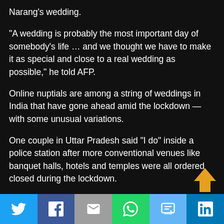Narang's wedding.
“A wedding is probably the most important day of somebody’s life … and we thought we have to make it as special and close to a real wedding as possible,” he told AFP.
Online nuptials are among a string of weddings in India that have gone ahead amid the lockdown — with some unusual variations.
One couple in Uttar Pradesh said “I do” inside a police station after more conventional venues like banquet halls, hotels and temples were all ordered closed during the lockdown.
And in Madhya Pradesh in central India, a bride and groom, their faces covered by masks, exchanged garlands — a key